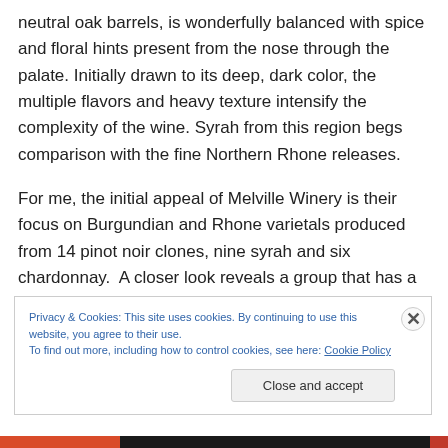neutral oak barrels, is wonderfully balanced with spice and floral hints present from the nose through the palate. Initially drawn to its deep, dark color, the multiple flavors and heavy texture intensify the complexity of the wine. Syrah from this region begs comparison with the fine Northern Rhone releases.
For me, the initial appeal of Melville Winery is their focus on Burgundian and Rhone varietals produced from 14 pinot noir clones, nine syrah and six chardonnay.  A closer look reveals a group that has a philosophy and
Privacy & Cookies: This site uses cookies. By continuing to use this website, you agree to their use.
To find out more, including how to control cookies, see here: Cookie Policy